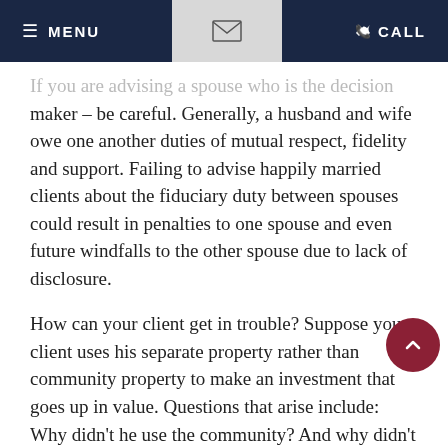≡ MENU   ✉   ✆ CALL
If you are advising a spouse who is the decision maker – be careful. Generally, a husband and wife owe one another duties of mutual respect, fidelity and support. Failing to advise happily married clients about the fiduciary duty between spouses could result in penalties to one spouse and even future windfalls to the other spouse due to lack of disclosure.
How can your client get in trouble? Suppose your client uses his separate property rather than community property to make an investment that goes up in value. Questions that arise include: Why didn't he use the community? And why didn't he allow the community to benefit from the investment?